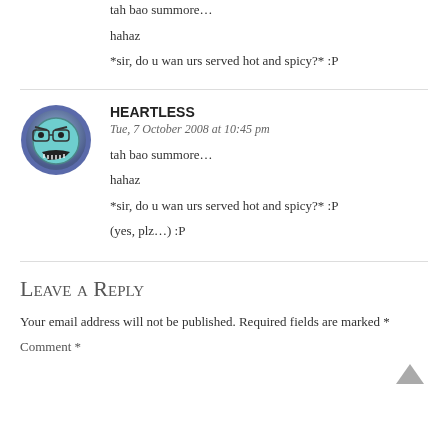tah bao summore…
hahaz
*sir, do u wan urs served hot and spicy?* :P
HEARTLESS
Tue, 7 October 2008 at 10:45 pm
tah bao summore…
hahaz
*sir, do u wan urs served hot and spicy?* :P
(yes, plz…) :P
Leave a Reply
Your email address will not be published. Required fields are marked *
Comment *